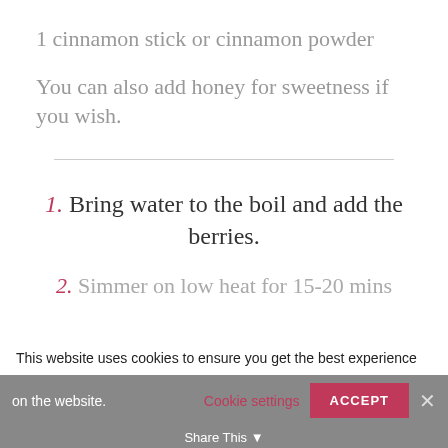1 cinnamon stick or cinnamon powder
You can also add honey for sweetness if you wish.
1. Bring water to the boil and add the berries.
2. Simmer on low heat for 15-20 mins
This website uses cookies to ensure you get the best experience on the website. Cookie settings  ACCEPT  Share This  ✕